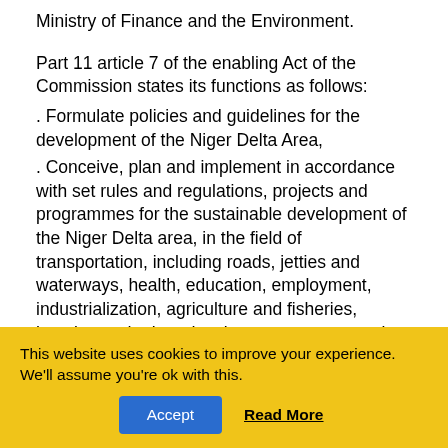Ministry of Finance and the Environment.
Part 11 article 7 of the enabling Act of the Commission states its functions as follows:
. Formulate policies and guidelines for the development of the Niger Delta Area,
. Conceive, plan and implement in accordance with set rules and regulations, projects and programmes for the sustainable development of the Niger Delta area, in the field of transportation, including roads, jetties and waterways, health, education, employment, industrialization, agriculture and fisheries, housing and urban development, water supply, electricity and telecommunications;
. Cause the Niger Delta area to be surveyed in order to
This website uses cookies to improve your experience. We'll assume you're ok with this.
Accept
Read More